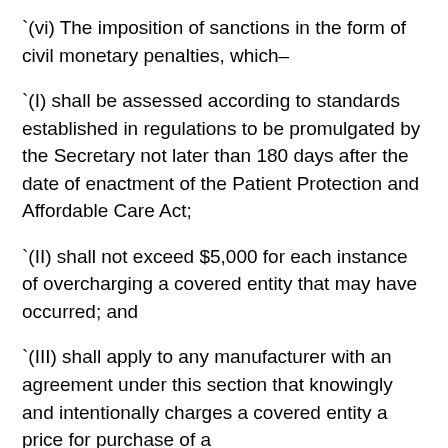`(vi) The imposition of sanctions in the form of civil monetary penalties, which–
`(I) shall be assessed according to standards established in regulations to be promulgated by the Secretary not later than 180 days after the date of enactment of the Patient Protection and Affordable Care Act;
`(II) shall not exceed $5,000 for each instance of overcharging a covered entity that may have occurred; and
`(III) shall apply to any manufacturer with an agreement under this section that knowingly and intentionally charges a covered entity a price for purchase of a